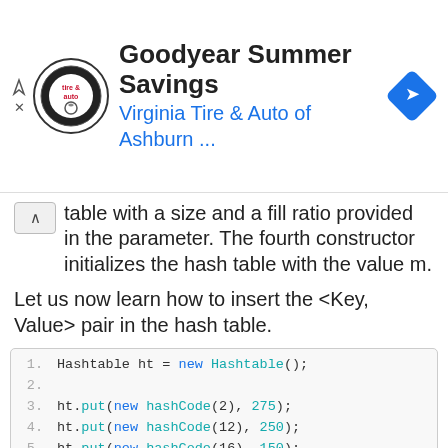[Figure (other): Goodyear Summer Savings advertisement banner with Virginia Tire & Auto of Ashburn logo and navigation arrow icon]
table with a size and a fill ratio provided in the parameter. The fourth constructor initializes the hash table with the value m.
Let us now learn how to insert the <Key, Value> pair in the hash table.
Code block:
1. Hashtable ht = new Hashtable();
2. 
3. ht.put(new hashCode(2), 275);
4. ht.put(new hashCode(12), 250);
5. ht.put(new hashCode(16), 150);
6. ht.put(new hashCode(8), 200);
7. System.out.println( ht);
8. 
9. /*output*/
10.